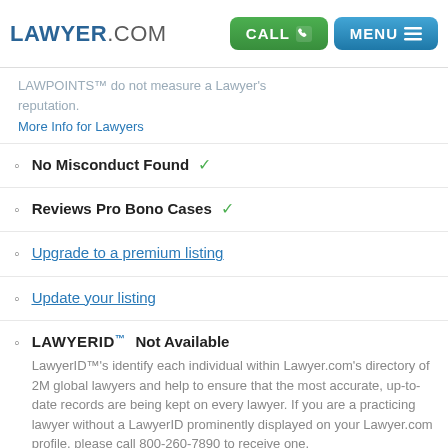LAWYER.COM  CALL  MENU
LAWPOINTS™ do not measure a Lawyer's reputation.
More Info for Lawyers
No Misconduct Found ✓
Reviews Pro Bono Cases ✓
Upgrade to a premium listing
Update your listing
LAWYERID™ Not Available
LawyerID™'s identify each individual within Lawyer.com's directory of 2M global lawyers and help to ensure that the most accurate, up-to-date records are being kept on every lawyer. If you are a practicing lawyer without a LawyerID prominently displayed on your Lawyer.com profile, please call 800-260-7890 to receive one.
Contact Us